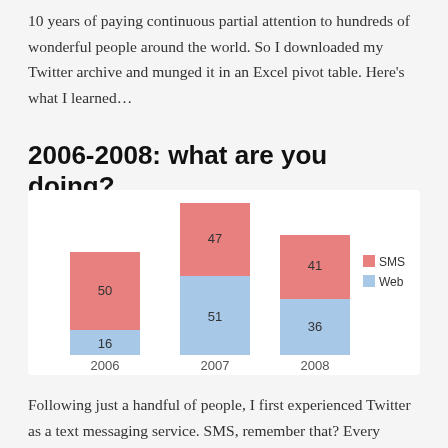10 years of paying continuous partial attention to hundreds of wonderful people around the world. So I downloaded my Twitter archive and munged it in an Excel pivot table. Here’s what I learned…
2006-2008: what are you doing?
[Figure (stacked-bar-chart): 2006-2008: what are you doing?]
Following just a handful of people, I first experienced Twitter as a text messaging service. SMS, remember that? Every message was an answer to a single, simple